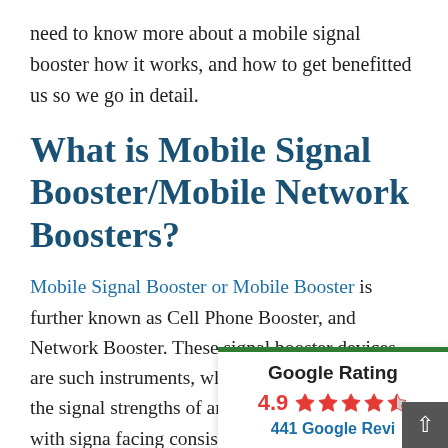need to know more about a mobile signal booster how it works, and how to get benefitted us so we go in detail.
What is Mobile Signal Booster/Mobile Network Boosters?
Mobile Signal Booster or Mobile Booster is further known as Cell Phone Booster, and Network Booster. These signal booster devices are such instruments, which are used to enhance the signal strengths of an area, which is weak with signa facing consistent issues of call system, which consists of basi
[Figure (infographic): Google Rating widget showing 4.9 stars and 441 Google Reviews, with a green top border and a scroll-to-top button.]